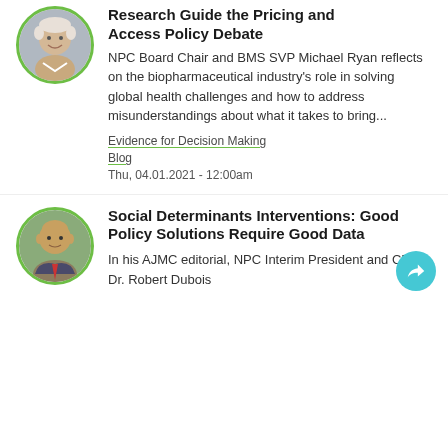[Figure (photo): Circular avatar photo of a senior man with white hair, smiling, with green border]
Research Guide the Pricing and Access Policy Debate
NPC Board Chair and BMS SVP Michael Ryan reflects on the biopharmaceutical industry's role in solving global health challenges and how to address misunderstandings about what it takes to bring...
Evidence for Decision Making
Blog
Thu, 04.01.2021 - 12:00am
[Figure (photo): Circular avatar photo of a bald man in a suit with red tie, with green border]
Social Determinants Interventions: Good Policy Solutions Require Good Data
In his AJMC editorial, NPC Interim President and CEO Dr. Robert Dubois